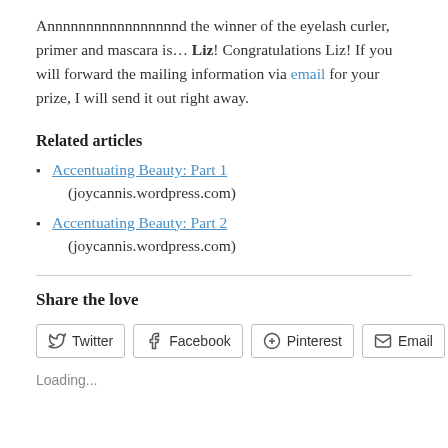Annnnnnnnnnnnnnnnnd the winner of the eyelash curler, primer and mascara is… Liz! Congratulations Liz! If you will forward the mailing information via email for your prize, I will send it out right away.
Related articles
Accentuating Beauty: Part 1 (joycannis.wordpress.com)
Accentuating Beauty: Part 2 (joycannis.wordpress.com)
Share the love
[Figure (other): Share buttons row: Twitter, Facebook, Pinterest, Email, More]
Loading...